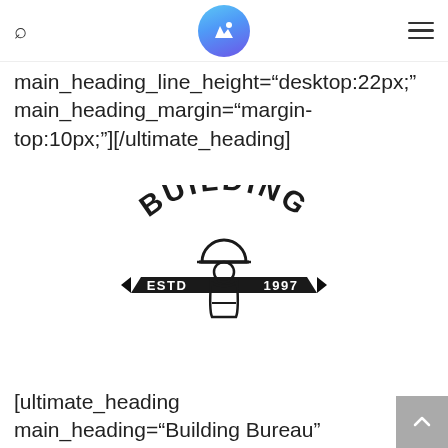[navigation header with search icon, YP logo, and hamburger menu]
main_heading_line_height="desktop:22px;" main_heading_margin="margin-top:10px;"][/ultimate_heading]
[Figure (logo): Building Bureau logo — established 1997, with a construction worker/hard-hat figure in the center, banner ribbons on each side reading ESTD and 1997, arched text BUILDING at top and BUREAU at bottom.]
[ultimate_heading main_heading="Building Bureau" main_heading_color="#bbbbbb"